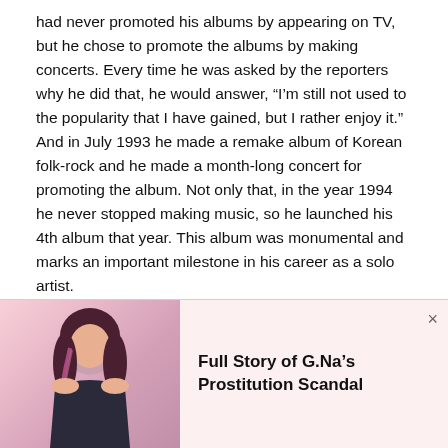had never promoted his albums by appearing on TV, but he chose to promote the albums by making concerts. Every time he was asked by the reporters why he did that, he would answer, “I’m still not used to the popularity that I have gained, but I rather enjoy it.” And in July 1993 he made a remake album of Korean folk-rock and he made a month-long concert for promoting the album. Not only that, in the year 1994 he never stopped making music, so he launched his 4th album that year. This album was monumental and marks an important milestone in his career as a solo artist.
[Figure (photo): Photo of G.Na, a woman with long wavy dark hair with pink highlights, wearing a dark outfit, shown from waist up against a light pinkish background.]
Full Story of G.Na’s Prostitution Scandal